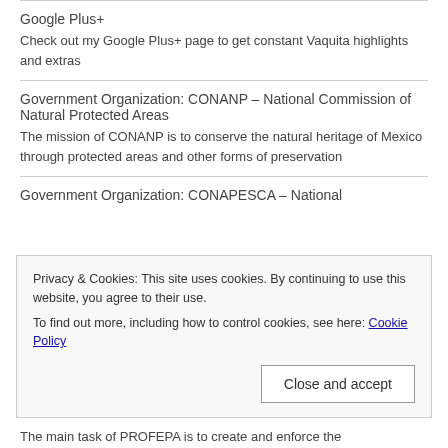Google Plus+
Check out my Google Plus+ page to get constant Vaquita highlights and extras
Government Organization: CONANP – National Commission of Natural Protected Areas
The mission of CONANP is to conserve the natural heritage of Mexico through protected areas and other forms of preservation
Government Organization: CONAPESCA – National
Privacy & Cookies: This site uses cookies. By continuing to use this website, you agree to their use.
To find out more, including how to control cookies, see here: Cookie Policy
The main task of PROFEPA is to create and enforce the